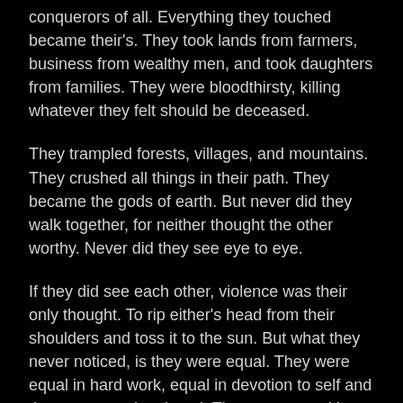conquerors of all. Everything they touched became their's. They took lands from farmers, business from wealthy men, and took daughters from families. They were bloodthirsty, killing whatever they felt should be deceased.
They trampled forests, villages, and mountains. They crushed all things in their path. They became the gods of earth. But never did they walk together, for neither thought the other worthy. Never did they see eye to eye.
If they did see each other, violence was their only thought. To rip either's head from their shoulders and toss it to the sun. But what they never noticed, is they were equal. They were equal in hard work, equal in devotion to self and those women they loved. They were equal in thirst for death, for destruction and power.